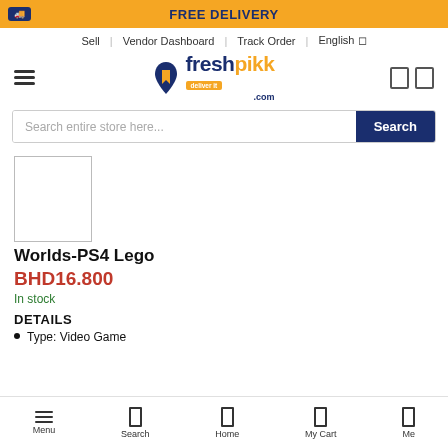FREE DELIVERY
Sell | Vendor Dashboard | Track Order | English
[Figure (logo): Freshpikk.com logo with delivery truck icon and tagline deliver it]
Search entire store here...
[Figure (photo): Product image placeholder box for Worlds-PS4 Lego]
Worlds-PS4 Lego
BHD16.800
In stock
DETAILS
Type: Video Game
Menu | Search | Home | My Cart | Me